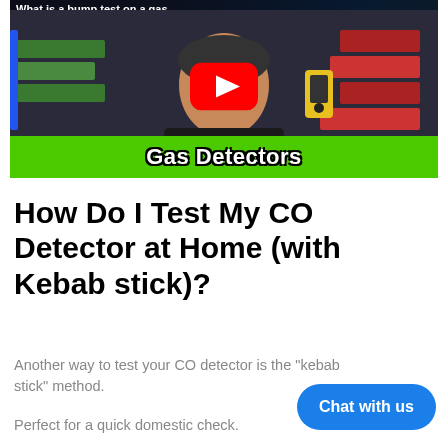[Figure (screenshot): YouTube video thumbnail showing a man holding a yellow gas detector device, with a YouTube play button overlay and a green banner at the bottom reading 'Gas Detectors'. The top bar shows partial title 'What is a bump test on a gas...']
How Do I Test My CO Detector at Home (with Kebab stick)?
Another way to test your CO detector is the "kebab stick" method.
Perfect for a quick domestic check.